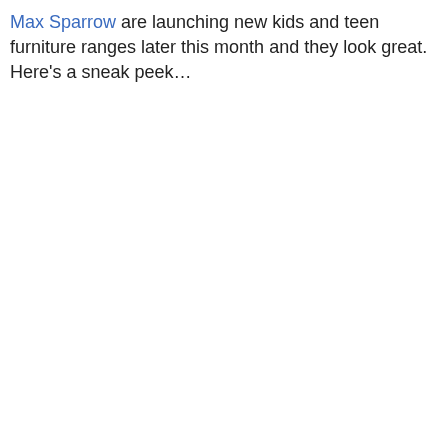Max Sparrow are launching new kids and teen furniture ranges later this month and they look great. Here's a sneak peek…